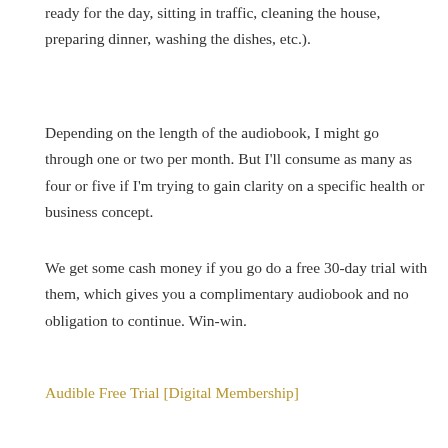ready for the day, sitting in traffic, cleaning the house, preparing dinner, washing the dishes, etc.).
Depending on the length of the audiobook, I might go through one or two per month. But I'll consume as many as four or five if I'm trying to gain clarity on a specific health or business concept.
We get some cash money if you go do a free 30-day trial with them, which gives you a complimentary audiobook and no obligation to continue. Win-win.
Audible Free Trial [Digital Membership]